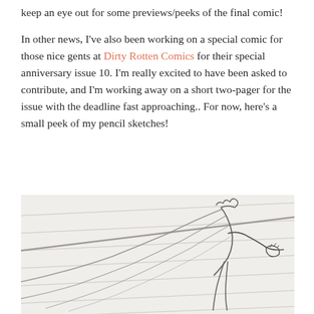keep an eye out for some previews/peeks of the final comic!
In other news, I've also been working on a special comic for those nice gents at Dirty Rotten Comics for their special anniversary issue 10. I'm really excited to have been asked to contribute, and I'm working away on a short two-pager for the issue with the deadline fast approaching.. For now, here's a small peek of my pencil sketches!
[Figure (illustration): Pencil sketch showing a dynamic manga/comic style figure in motion with loose, gestural lines suggesting movement and speed lines in the background.]